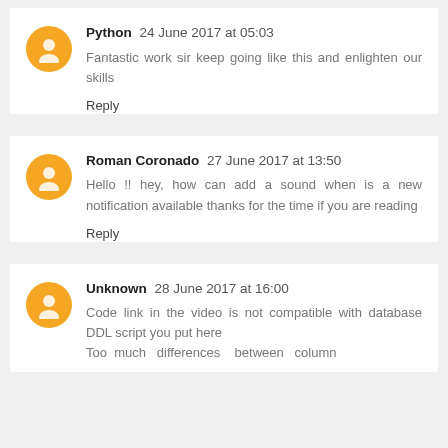Python  24 June 2017 at 05:03
Fantastic work sir keep going like this and enlighten our skills
Reply
Roman Coronado  27 June 2017 at 13:50
Hello !! hey, how can add a sound when is a new notification available thanks for the time if you are reading
Reply
Unknown  28 June 2017 at 16:00
Code link in the video is not compatible with database DDL script you put here
Too much differences between column